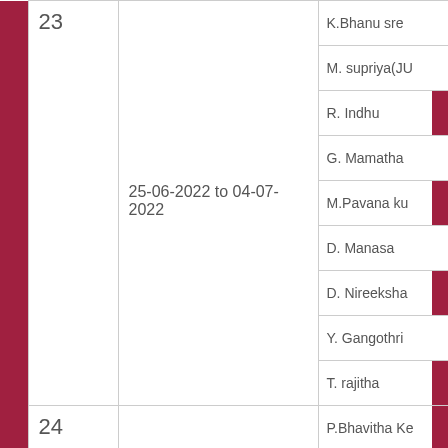|  | S.No | Date | Names |
| --- | --- | --- | --- |
|  | 23 | 25-06-2022 to 04-07-2022 | K.Bhanu sre, M. supriya(JU, R. Indhu, G. Mamatha, M.Pavana ku, D. Manasa, D. Nireeksha, Y. Gangothri, T. rajitha |
|  | 24 | 04-07-22 TO 17-07-22 | P.Bhavitha Ke, R.Supriya |
|  |  |  | M.Pavana ku, D.Nireekshan |